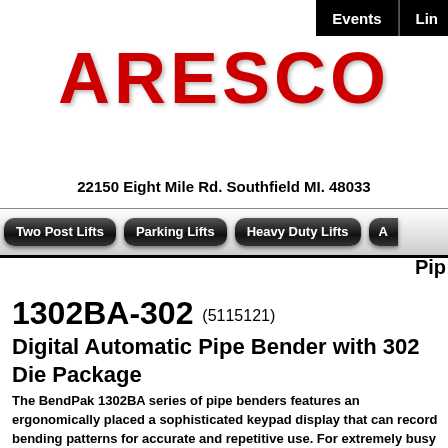Events | Lin
ARESCO
22150 Eight Mile Rd. Southfield MI. 48033
Two Post Lifts | Parking Lifts | Heavy Duty Lifts | A
Pip
1302BA-302 (5115121)
Digital Automatic Pipe Bender with 302 Die Package
The BendPak 1302BA series of pipe benders features an ergonomically placed a sophisticated keypad display that can record bending patterns for accurate and repetitive use. For extremely busy shops, an automatic pipe bender will save time make it easy to duplicate results.